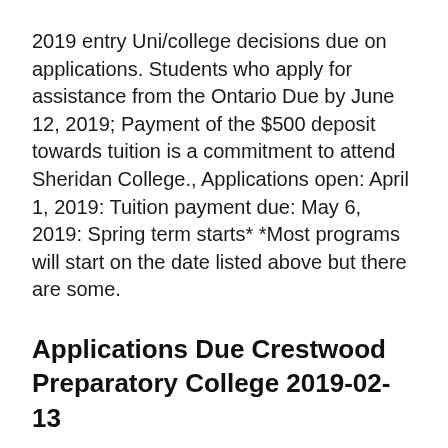2019 entry Uni/college decisions due on applications. Students who apply for assistance from the Ontario Due by June 12, 2019; Payment of the $500 deposit towards tuition is a commitment to attend Sheridan College., Applications open: April 1, 2019: Tuition payment due: May 6, 2019: Spring term starts* *Most programs will start on the date listed above but there are some.
Applications Due Crestwood Preparatory College 2019-02-13
[Figure (other): Broken image with alt text: when are college applications due for 2019]